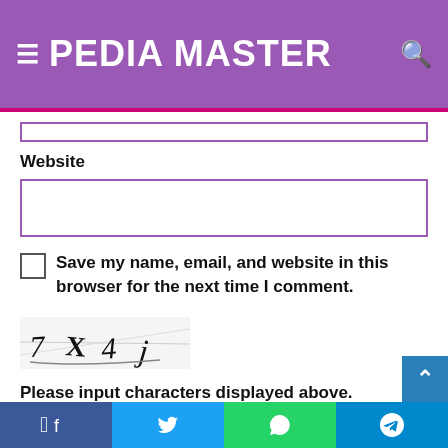PEDIA MASTER
Website
[Figure (other): Website text input field with purple border]
Save my name, email, and website in this browser for the next time I comment.
[Figure (other): CAPTCHA image showing distorted characters: 7 X 4 J]
Please input characters displayed above.
[Figure (other): CAPTCHA text input field with purple border]